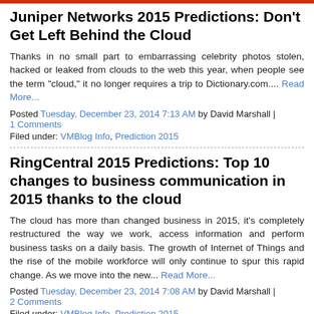Juniper Networks 2015 Predictions: Don't Get Left Behind the Cloud
Thanks in no small part to embarrassing celebrity photos stolen, hacked or leaked from clouds to the web this year, when people see the term "cloud," it no longer requires a trip to Dictionary.com.... Read More...
Posted Tuesday, December 23, 2014 7:13 AM by David Marshall | 1 Comments
Filed under: VMBlog Info, Prediction 2015
RingCentral 2015 Predictions: Top 10 changes to business communication in 2015 thanks to the cloud
The cloud has more than changed business in 2015, it's completely restructured the way we work, access information and perform business tasks on a daily basis. The growth of Internet of Things and the rise of the mobile workforce will only continue to spur this rapid change. As we move into the new... Read More...
Posted Tuesday, December 23, 2014 7:08 AM by David Marshall | 2 Comments
Filed under: VMBlog Info, Prediction 2015
Data Store 2015 Predictions: M...